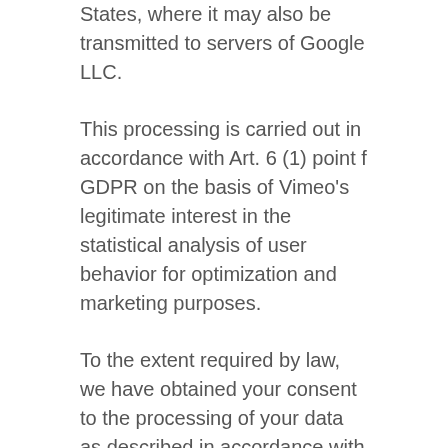States, where it may also be transmitted to servers of Google LLC.
This processing is carried out in accordance with Art. 6 (1) point f GDPR on the basis of Vimeo's legitimate interest in the statistical analysis of user behavior for optimization and marketing purposes.
To the extent required by law, we have obtained your consent to the processing of your data as described in accordance with Art. 6 (1) point a GDPR. You can withdraw your consent at any time with effect for the future. In order to exercise your right of withdrawal, please follow the procedure described above.